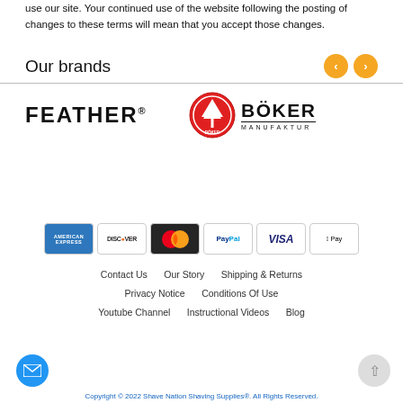use our site. Your continued use of the website following the posting of changes to these terms will mean that you accept those changes.
Our brands
[Figure (logo): FEATHER® brand logo in bold black text]
[Figure (logo): BÖKER MANUFAKTUR logo with red circular tree emblem]
[Figure (infographic): Payment method icons: American Express, Discover, MasterCard, PayPal, Visa, Apple Pay]
Contact Us   Our Story   Shipping & Returns   Privacy Notice   Conditions Of Use   Youtube Channel   Instructional Videos   Blog
Copyright © 2022 Shave Nation Shaving Supplies®. All Rights Reserved.